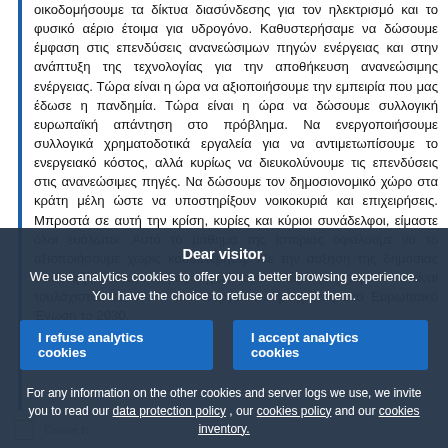οικοδομήσουμε τα δίκτυα διασύνδεσης για τον ηλεκτρισμό και το φυσικό αέριο έτοιμα για υδρογόνο. Καθυστερήσαμε να δώσουμε έμφαση στις επενδύσεις ανανεώσιμων πηγών ενέργειας και στην ανάπτυξη της τεχνολογίας για την αποθήκευση ανανεώσιμης ενέργειας. Τώρα είναι η ώρα να αξιοποιήσουμε την εμπειρία που μας έδωσε η πανδημία. Τώρα είναι η ώρα να δώσουμε συλλογική ευρωπαϊκή απάντηση στο πρόβλημα. Να ενεργοποιήσουμε συλλογικά χρηματοδοτικά εργαλεία για να αντιμετωπίσουμε το ενεργειακό κόστος, αλλά κυρίως να διευκολύνουμε τις επενδύσεις στις ανανεώσιμες πηγές. Να δώσουμε τον δημοσιονομικό χώρο στα κράτη μέλη ώστε να υποστηρίξουν νοικοκυριά και επιχειρήσεις. Μπροστά σε αυτή την κρίση, κυρίες και κύριοι συνάδελφοι, είμαστε όλοι ευάλωτοι. Αυτό το μάθημα της Ιστορίας οφείλουμε να το αξιοποιήσουμε χωρίς καθυστέρηση. Με την αύξηση της δημόσιας αποδοχής οι ανανεώσιμες πηγές, κυρία Επίτροπε, μπορούν να είναι τουλάχιστον το 45 % του ενεργειακού μείγματος στο Ευρωπαϊκό Ένωση το 2030.
Dear visitor,
We use analytics cookies to offer you a better browsing experience. You have the choice to refuse or accept them.
I refuse analytics cookies
I accept analytics cookies
For any information on the other cookies and server logs we use, we invite you to read our data protection policy , our cookies policy and our cookies inventory.